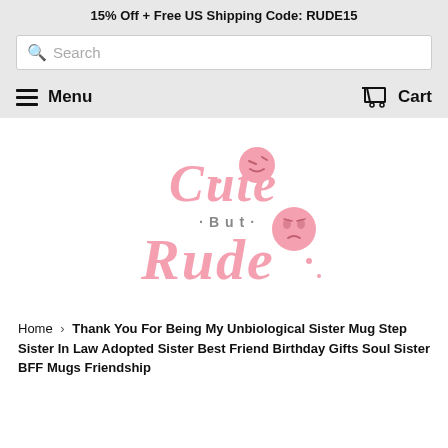15% Off + Free US Shipping Code: RUDE15
Search
Menu   Cart
[Figure (logo): Cute But Rude brand logo in pink script lettering with two cartoon emoji faces]
Home › Thank You For Being My Unbiological Sister Mug Step Sister In Law Adopted Sister Best Friend Birthday Gifts Soul Sister BFF Mugs Friendship